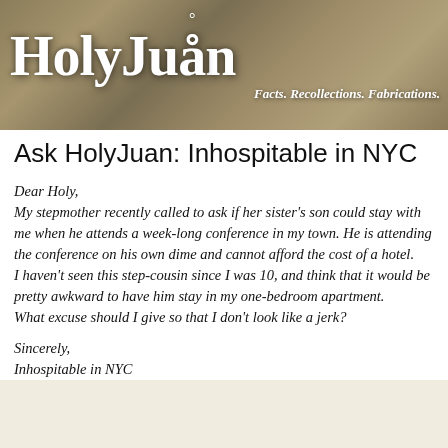[Figure (illustration): HolyJuan blog banner with cloudy/heavenly background texture, large white bold text 'HolyJuån' with halo over the 'a', and italic subtitle 'Facts. Recollections. Fabrications.']
Ask HolyJuan: Inhospitable in NYC
Dear Holy,
My stepmother recently called to ask if her sister's son could stay with me when he attends a week-long conference in my town. He is attending the conference on his own dime and cannot afford the cost of a hotel.
I haven't seen this step-cousin since I was 10, and think that it would be pretty awkward to have him stay in my one-bedroom apartment.

What excuse should I give so that I don't look like a jerk?

Sincerely,
Inhospitable in NYC